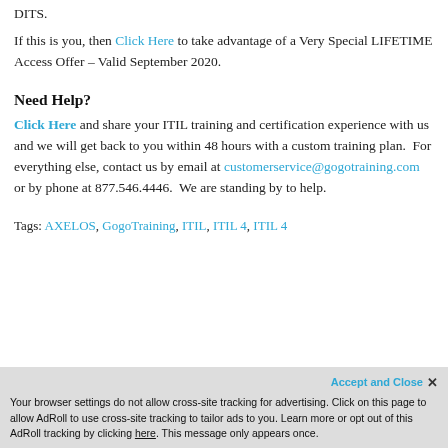DITS.
If this is you, then Click Here to take advantage of a Very Special LIFETIME Access Offer – Valid September 2020.
Need Help?
Click Here and share your ITIL training and certification experience with us and we will get back to you within 48 hours with a custom training plan.  For everything else, contact us by email at customerservice@gogotraining.com or by phone at 877.546.4446.  We are standing by to help.
Tags: AXELOS, GogoTraining, ITIL, ITIL 4, ITIL 4
Accept and Close ✕ Your browser settings do not allow cross-site tracking for advertising. Click on this page to allow AdRoll to use cross-site tracking to tailor ads to you. Learn more or opt out of this AdRoll tracking by clicking here. This message only appears once.